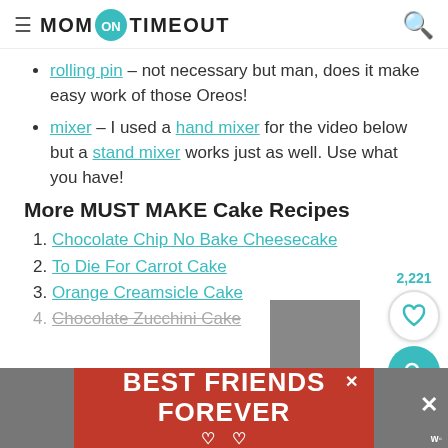MOM ON TIMEOUT
rolling pin – not necessary but man, does it make easy work of those Oreos!
mixer – I used a hand mixer for the video below but a stand mixer works just as well. Use what you have!
More MUST MAKE Cake Recipes
1. Chocolate Chip No Bake Cheesecake
2. To Die For Carrot Cake
3. Orange Creamsicle Cake
4. Chocolate Zucchini Cake